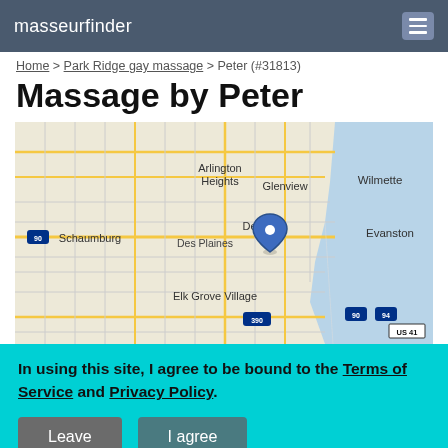masseurfinder
Home > Park Ridge gay massage > Peter (#31813)
Massage by Peter
[Figure (map): Street map showing the Chicago suburban area including Arlington Heights, Glenview, Wilmette, Schaumburg, Des Plaines, Evanston, Elk Grove Village with a blue location pin over Park Ridge area. Highways 90, 390, 94, US 41 visible. Lake Michigan shown in blue on the right.]
In using this site, I agree to be bound to the Terms of Service and Privacy Policy.
Leave   I agree